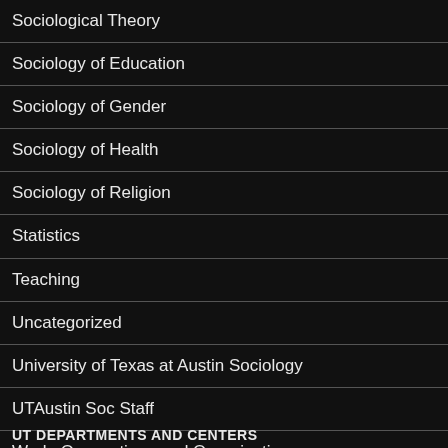Sociological Theory
Sociology of Education
Sociology of Gender
Sociology of Health
Sociology of Religion
Statistics
Teaching
Uncategorized
University of Texas at Austin Sociology
UTAustin Soc Staff
Work, Occupations and Organizations
UT DEPARTMENTS AND CENTERS